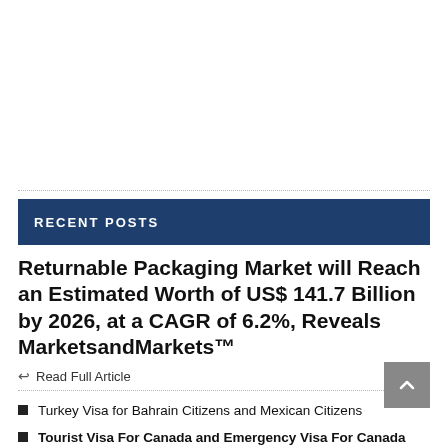RECENT POSTS
Returnable Packaging Market will Reach an Estimated Worth of US$ 141.7 Billion by 2026, at a CAGR of 6.2%, Reveals MarketsandMarkets™
Read Full Article
Turkey Visa for Bahrain Citizens and Mexican Citizens
Tourist Visa For Canada and Emergency Visa For Canada